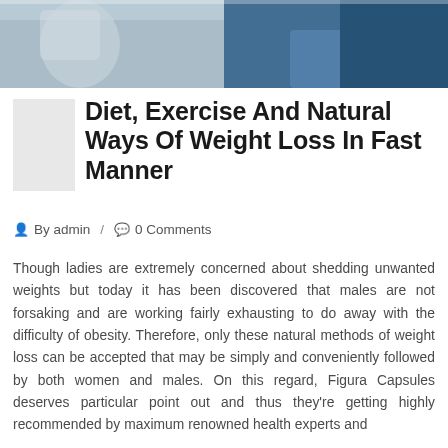[Figure (photo): Top banner photo showing medical/health scene with people, partially cropped at top]
Diet, Exercise And Natural Ways Of Weight Loss In Fast Manner
By admin / 0 Comments
Though ladies are extremely concerned about shedding unwanted weights but today it has been discovered that males are not forsaking and are working fairly exhausting to do away with the difficulty of obesity. Therefore, only these natural methods of weight loss can be accepted that may be simply and conveniently followed by both women and males. On this regard, Figura Capsules deserves particular point out and thus they're getting highly recommended by maximum renowned health experts and